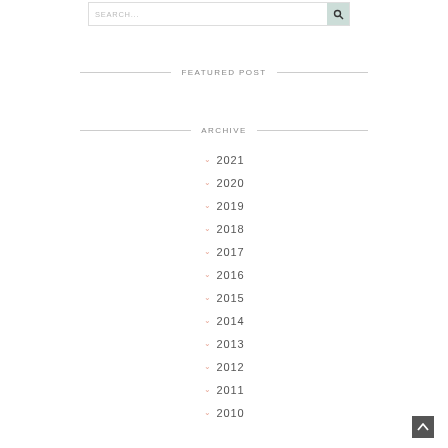SEARCH...
FEATURED POST
ARCHIVE
2021
2020
2019
2018
2017
2016
2015
2014
2013
2012
2011
2010